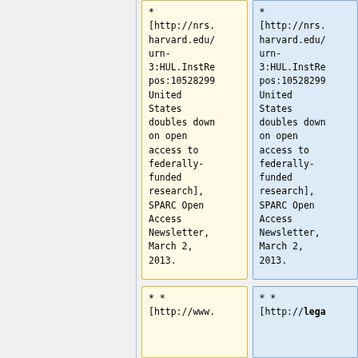|  | Col1 | Col2 |
| --- | --- | --- |
| * | [http://nrs.harvard.edu/urn-3:HUL.InstRepos:10528299 United States doubles down on open access to federally-funded research], SPARC Open Access Newsletter, March 2, 2013. | [http://nrs.harvard.edu/urn-3:HUL.InstRepos:10528299 United States doubles down on open access to federally-funded research], SPARC Open Access Newsletter, March 2, 2013. |
| ** | [http://www. | [http://lega |